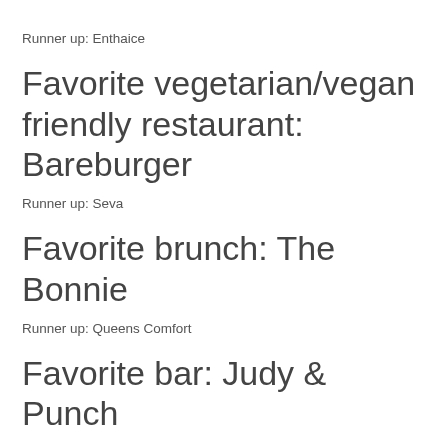Runner up: Enthaice
Favorite vegetarian/vegan friendly restaurant: Bareburger
Runner up: Seva
Favorite brunch: The Bonnie
Runner up: Queens Comfort
Favorite bar: Judy & Punch
Runner up: The Ditty
Favorite coffee shop/cafe: Gossin Coffee